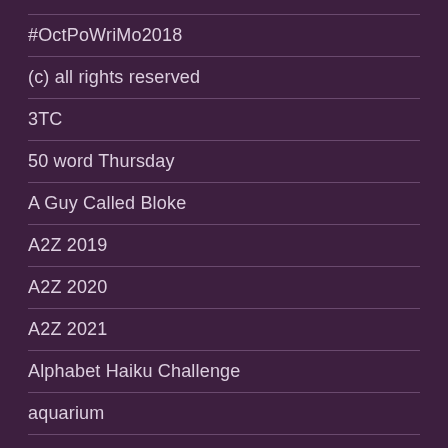#OctPoWriMo2018
(c) all rights reserved
3TC
50 word Thursday
A Guy Called Bloke
A2Z 2019
A2Z 2020
A2Z 2021
Alphabet Haiku Challenge
aquarium
art